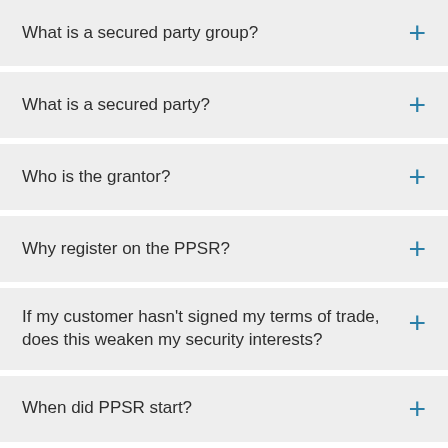What is a secured party group?
What is a secured party?
Who is the grantor?
Why register on the PPSR?
If my customer hasn't signed my terms of trade, does this weaken my security interests?
When did PPSR start?
What does PPSR stand for?
I've looked at the PPSR government website. Is there an easier way?